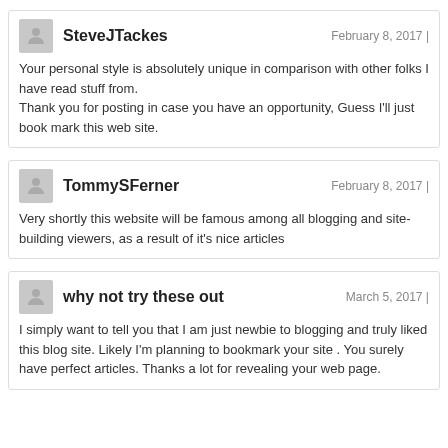SteveJTackes — February 8, 2017 | Your personal style is absolutely unique in comparison with other folks I have read stuff from. Thank you for posting in case you have an opportunity, Guess I'll just book mark this web site.
TommySFerner — February 8, 2017 | Very shortly this website will be famous among all blogging and site-building viewers, as a result of it's nice articles
why not try these out — March 5, 2017 | I simply want to tell you that I am just newbie to blogging and truly liked this blog site. Likely I'm planning to bookmark your site . You surely have perfect articles. Thanks a lot for revealing your web page.